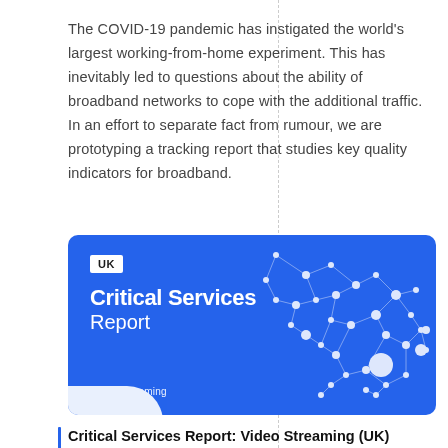The COVID-19 pandemic has instigated the world's largest working-from-home experiment. This has inevitably led to questions about the ability of broadband networks to cope with the additional traffic. In an effort to separate fact from rumour, we are prototyping a tracking report that studies key quality indicators for broadband.
[Figure (illustration): Blue banner image for 'Critical Services Report: Video Streaming (UK)' with a white network map illustration of the UK made of connected nodes and lines on a blue background. Shows a white badge with 'UK', bold white title 'Critical Services Report', and a YouTube icon with 'Video Streaming' label.]
Critical Services Report: Video Streaming (UK)